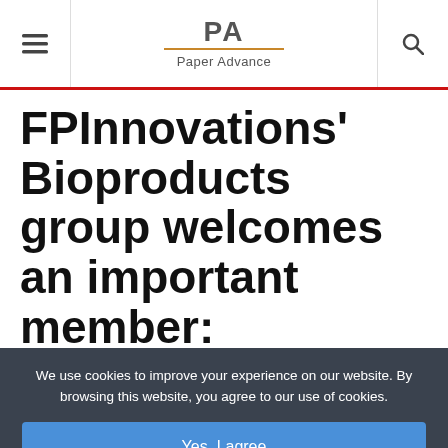PA Paper Advance
FPInnovations' Bioproducts group welcomes an important member:
We use cookies to improve your experience on our website. By browsing this website, you agree to our use of cookies.
Yes, I agree
Decline
More Info